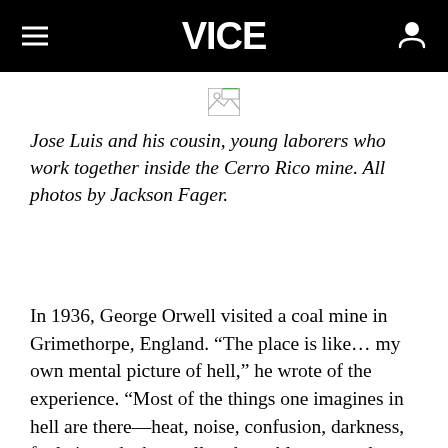VICE
[Figure (photo): Broken/missing image placeholder]
Jose Luis and his cousin, young laborers who work together inside the Cerro Rico mine. All photos by Jackson Fager.
In 1936, George Orwell visited a coal mine in Grimethorpe, England. “The place is like… my own mental picture of hell,” he wrote of the experience. “Most of the things one imagines in hell are there—heat, noise, confusion, darkness, foul air, and, above all, unbearably cramped